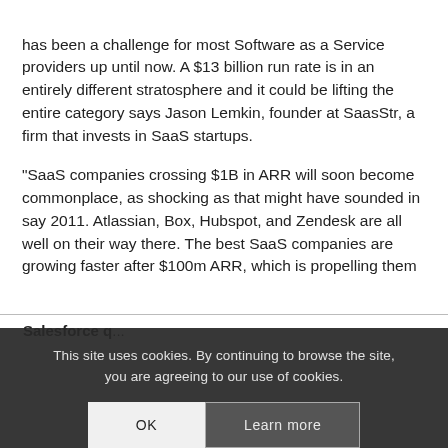has been a challenge for most Software as a Service providers up until now. A $13 billion run rate is in an entirely different stratosphere and it could be lifting the entire category says Jason Lemkin, founder at SaasStr, a firm that invests in SaaS startups.
“SaaS companies crossing $1B in ARR will soon become commonplace, as shocking as that might have sounded in say 2011. Atlassian, Box, Hubspot, and Zendesk are all well on their way there. The best SaaS companies are growing faster after $100m ARR, which is propelling them th[ere]
| Salesforce q... |
| --- |
This site uses cookies. By continuing to browse the site, you are agreeing to our use of cookies.